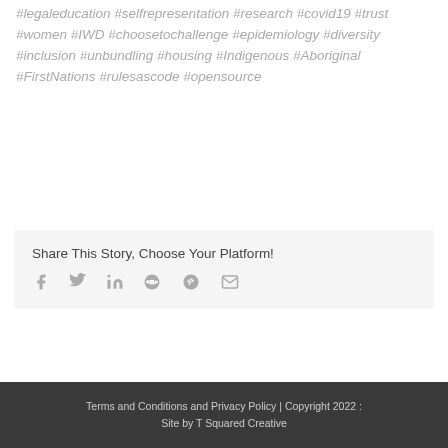#legaleducation #selfrepresentation #research #covid19 #trust #women #IWD #choosetochallenge #epidemiology #diversity #inclusion #unbundling #housing #Indigenous #Aboriginal #FirstNations #rulesascode #opensource
Share This Story, Choose Your Platform!
[Figure (infographic): Social media share icons: Facebook, Twitter, LinkedIn, Reddit, Google+, Email]
Terms and Conditions and Privacy Policy | Copyright 2022 : Site by T Squared Creative